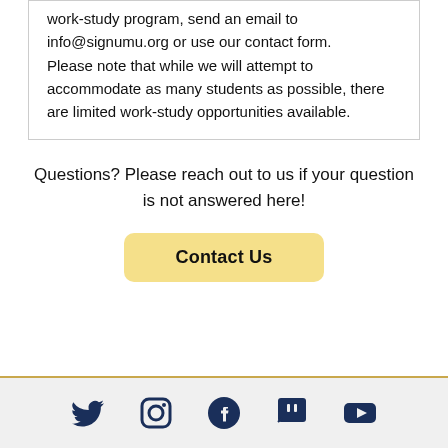work-study program, send an email to info@signumu.org or use our contact form.

Please note that while we will attempt to accommodate as many students as possible, there are limited work-study opportunities available.
Questions? Please reach out to us if your question is not answered here!
Contact Us
[Figure (infographic): Footer with social media icons: Twitter, Instagram, Facebook, Twitch, YouTube in dark navy blue on a light grey background, separated from content by a gold horizontal line.]